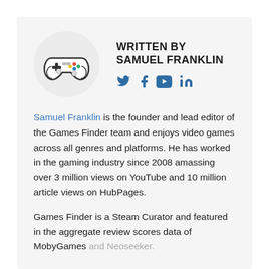[Figure (illustration): Game controller icon inside a light grey circle]
WRITTEN BY
SAMUEL FRANKLIN
[Figure (other): Social media icons: Twitter, Facebook, YouTube, LinkedIn]
Samuel Franklin is the founder and lead editor of the Games Finder team and enjoys video games across all genres and platforms. He has worked in the gaming industry since 2008 amassing over 3 million views on YouTube and 10 million article views on HubPages.
Games Finder is a Steam Curator and featured in the aggregate review scores data of MobyGames and Neoseeker.